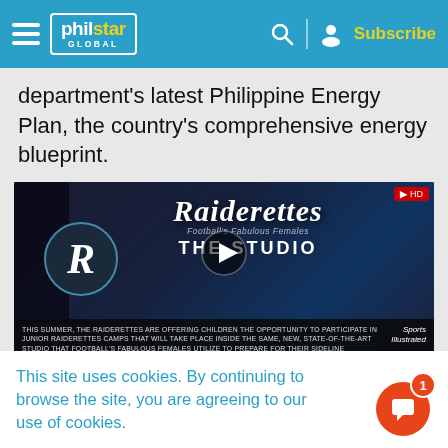philstar GLOBAL — Subscribe
department's latest Philippine Energy Plan, the country's comprehensive energy blueprint.
[Figure (screenshot): Embedded video player showing Raiderettes The Studio with play button. Caption reads: THIS SUMMER, THE RAIDERETTES ARE OFFERING CHILDREN THE OPPORTUNITY TO PARTICIPATE IN JUNIOR RAIDERETTES CAMPS THAT WILL TAKE PLACE INSIDE THE SAME, NEW, STATE-OF-THE-ART STUDIO THAT FOOTBALL'S FABULOUS FEMALES UTILIZE TO PREPARE FOR THEIR SIDELINE PERFORMANCES DURING LAS VEGAS RAIDERS GAMES AT ALLEGIANT STADIUM. Sports Illustrated logo shown.]
This site uses cookies. By continuing to browse the site, you are agreeing to our use of cookies.